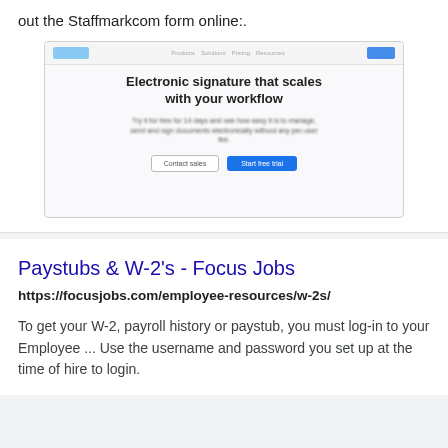out the Staffmarkcom form online:.
[Figure (screenshot): Blurred screenshot of a web page showing an electronic signature service with a headline reading 'Electronic signature that scales with your workflow' and a blue call-to-action button.]
Paystubs & W-2's - Focus Jobs
https://focusjobs.com/employee-resources/w-2s/
To get your W-2, payroll history or paystub, you must log-in to your Employee ... Use the username and password you set up at the time of hire to login.